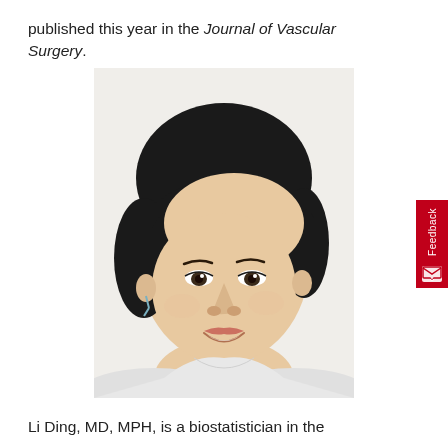published this year in the Journal of Vascular Surgery.
[Figure (photo): Headshot portrait photo of Li Ding, MD, MPH — a young Asian woman with short dark hair, wearing a white top, smiling against a white background.]
Li Ding, MD, MPH, is a biostatistician in the